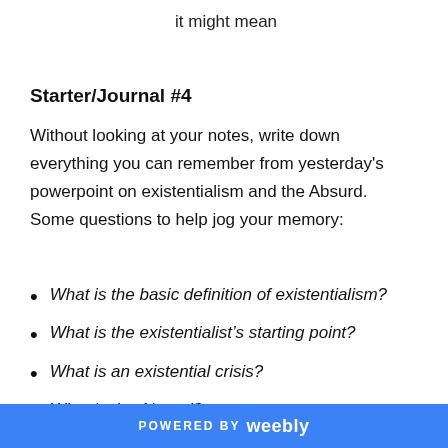it might mean
Starter/Journal #4
Without looking at your notes, write down everything you can remember from yesterday's powerpoint on existentialism and the Absurd.  Some questions to help jog your memory:
What is the basic definition of existentialism?
What is the existentialist's starting point?
What is an existential crisis?
What is the Absurd?
What are possible responses to the
POWERED BY weebly